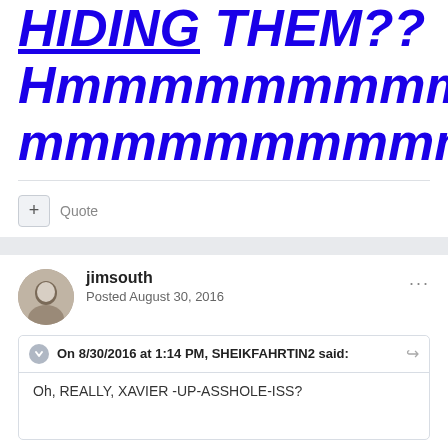HIDING THEM?? Hmmmmmmmmmmmmmmmmm???
+ Quote
jimsouth
Posted August 30, 2016
On 8/30/2016 at 1:14 PM, SHEIKFAHRTIN2 said:
Oh, REALLY, XAVIER -UP-ASSHOLE-ISS?